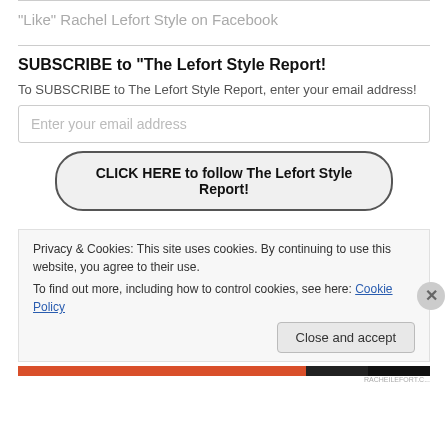“Like” Rachel Lefort Style on Facebook
SUBSCRIBE to "The Lefort Style Report!"
To SUBSCRIBE to The Lefort Style Report, enter your email address!
Enter your email address
CLICK HERE to follow The Lefort Style Report!
Privacy & Cookies: This site uses cookies. By continuing to use this website, you agree to their use.
To find out more, including how to control cookies, see here: Cookie Policy
Close and accept